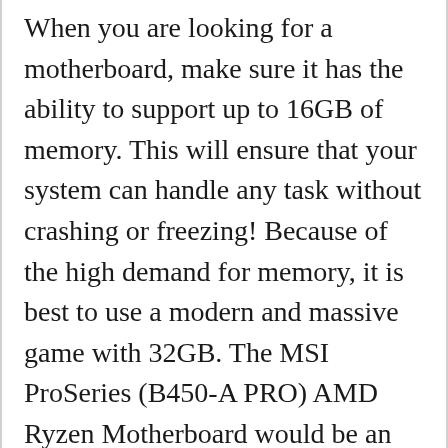When you are looking for a motherboard, make sure it has the ability to support up to 16GB of memory. This will ensure that your system can handle any task without crashing or freezing! Because of the high demand for memory, it is best to use a modern and massive game with 32GB. The MSI ProSeries (B450-A PRO) AMD Ryzen Motherboard would be an excellent choice if you own a Ryzen 5 2600X processor!